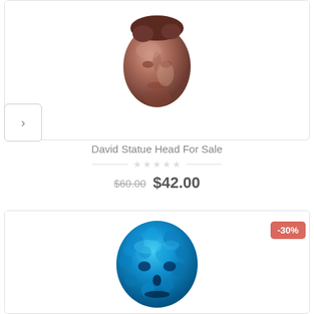[Figure (photo): Bronze/copper colored David statue head figurine product photo on white background]
David Statue Head For Sale
★★★★★ (empty stars rating)
$60.00  $42.00
[Figure (photo): Blue metallic textured skull/David head statue product photo on white background with -30% discount badge]